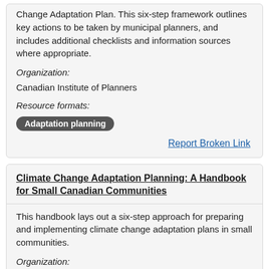Change Adaptation Plan. This six-step framework outlines key actions to be taken by municipal planners, and includes additional checklists and information sources where appropriate.
Organization:
Canadian Institute of Planners
Resource formats:
Adaptation planning
Report Broken Link
Climate Change Adaptation Planning: A Handbook for Small Canadian Communities
This handbook lays out a six-step approach for preparing and implementing climate change adaptation plans in small communities.
Organization: